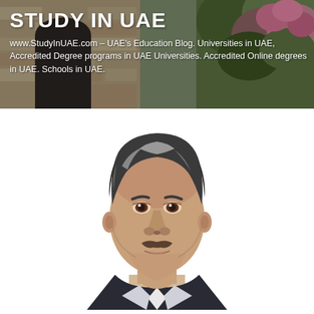[Figure (photo): Header banner with stone building background showing 'STUDY IN UAE' title and descriptive text about StudyInUAE.com education blog]
STUDY IN UAE
www.StudyInUAE.com – UAE's Education Blog. Universities in UAE, Accredited Degree programs in UAE Universities. Accredited Online degrees in UAE. Schools in UAE.
[Figure (photo): Portrait photo of a middle-aged man with grey-streaked dark hair, small moustache, wearing a dark suit, photographed against a white background]